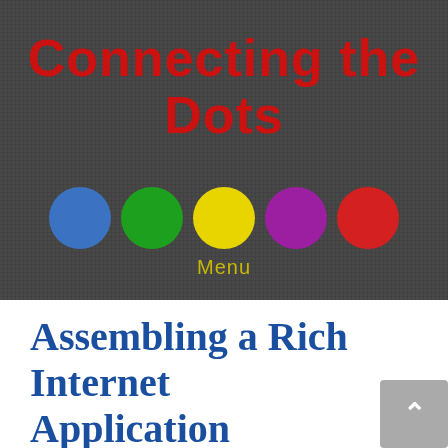Connecting the Dots
[Figure (illustration): Five colored circles in a row: blue, green, yellow, purple, red on a dark gray textured background]
Menu
Assembling a Rich Internet Application